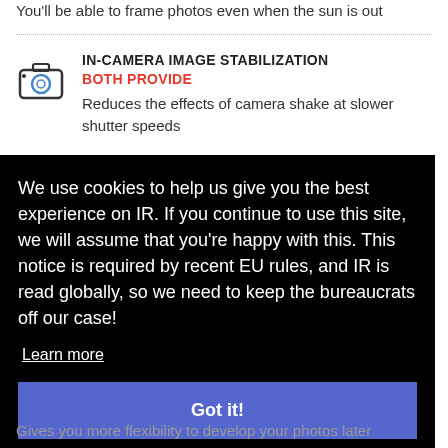You'll be able to frame photos even when the sun is out
IN-CAMERA IMAGE STABILIZATION
BOTH PROVIDE
Reduces the effects of camera shake at slower shutter speeds
We use cookies to help us give you the best experience on IR. If you continue to use this site, we will assume that you're happy with this. This notice is required by recent EU rules, and IR is read globally, so we need to keep the bureaucrats off our case!
Learn more
Got it!
Gives you more flexibility to develop your photos later